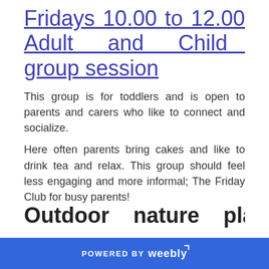Fridays 10.00 to 12.00 Adult and Child group session
This group is for toddlers and is open to parents and carers who like to connect and socialize.
Here often parents bring cakes and like to drink tea and relax. This group should feel less engaging and more informal; The Friday Club for busy parents!
Outdoor   nature   play
POWERED BY weebly